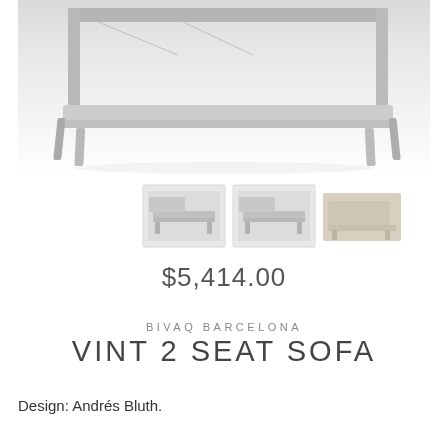[Figure (photo): Close-up photograph of a modern white/grey two-seat sofa with metal legs on a white background, showing the lower back frame and legs]
[Figure (photo): Three thumbnail images of the Vint 2 Seat Sofa from different angles: front-angle view, side-front view, and side profile view]
$5,414.00
BIVAQ BARCELONA
VINT 2 SEAT SOFA
Design: Andrés Bluth.